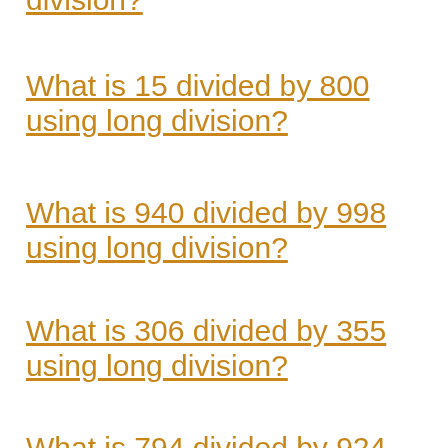division?
What is 15 divided by 800 using long division?
What is 940 divided by 998 using long division?
What is 306 divided by 355 using long division?
What is 794 divided by 924 using long division?
What is 367 divided by 450 using long division?